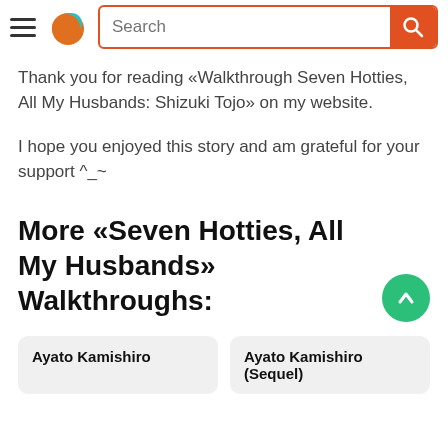Search bar navigation header with hamburger menu and logo
Thank you for reading «Walkthrough Seven Hotties, All My Husbands: Shizuki Tojo» on my website.
I hope you enjoyed this story and am grateful for your support ^_~
More «Seven Hotties, All My Husbands» Walkthroughs:
Ayato Kamishiro
Ayato Kamishiro (Sequel)